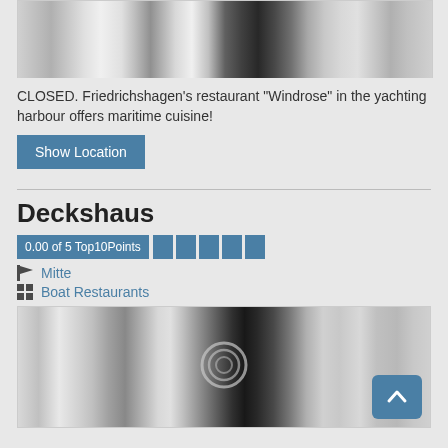[Figure (photo): Partial top image of yachting harbour restaurant, grayscale]
CLOSED. Friedrichshagen's restaurant "Windrose" in the yachting harbour offers maritime cuisine!
Show Location
Deckshaus
0.00 of 5 Top10Points
Mitte
Boat Restaurants
[Figure (photo): Partial bottom image of boat restaurant, grayscale, with camera icon and back-to-top button]